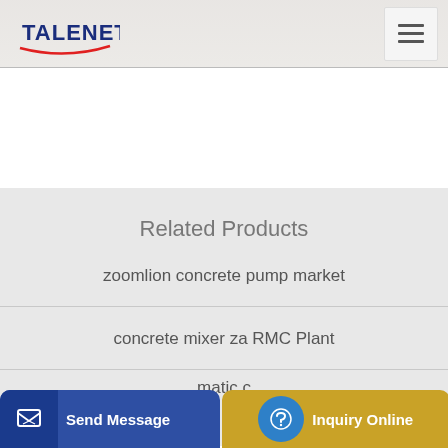TALENET
Related Products
zoomlion concrete pump market
concrete mixer za RMC Plant
…matic c…
Send Message
Inquiry Online